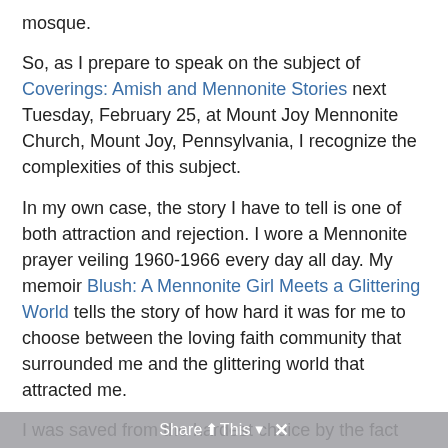mosque.
So, as I prepare to speak on the subject of Coverings: Amish and Mennonite Stories next Tuesday, February 25, at Mount Joy Mennonite Church, Mount Joy, Pennsylvania, I recognize the complexities of this subject.
In my own case, the story I have to tell is one of both attraction and rejection. I wore a Mennonite prayer veiling 1960-1966 every day all day. My memoir Blush: A Mennonite Girl Meets a Glittering World tells the story of how hard it was for me to choose between the loving faith community that surrounded me and the glittering world that attracted me.
I was saved from the hardest choice by the fact that the church itself was changing. Conservatives would say that the Lancaster Conference gave way to the pressures of the world. Liberals would say that the church had been placing an unfair burden to maintain religious symbolism by requiring all church women to wear it. The old...
Share This